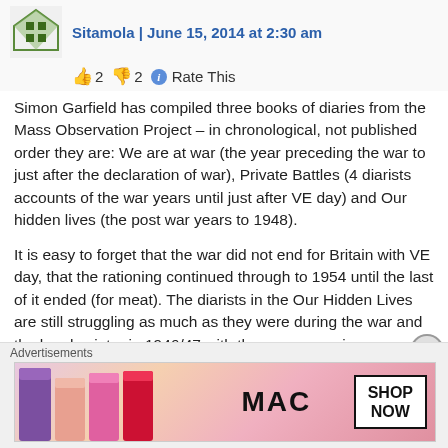Sitamola | June 15, 2014 at 2:30 am
👍 2 👎 2 ℹ Rate This
Simon Garfield has compiled three books of diaries from the Mass Observation Project – in chronological, not published order they are: We are at war (the year preceding the war to just after the declaration of war), Private Battles (4 diarists accounts of the war years until just after VE day) and Our hidden lives (the post war years to 1948).
It is easy to forget that the war did not end for Britain with VE day, that the rationing continued through to 1954 until the last of it ended (for meat). The diarists in the Our Hidden Lives are still struggling as much as they were during the war and the harsh winter in 1946/47 with the accompanying power crisis did not help. Power to homes was restricted – often down to 19 hours a day, coal couldn't get through to power
Advertisements
[Figure (photo): MAC cosmetics advertisement banner showing lipsticks in purple, pink, and red with MAC logo and SHOP NOW button]